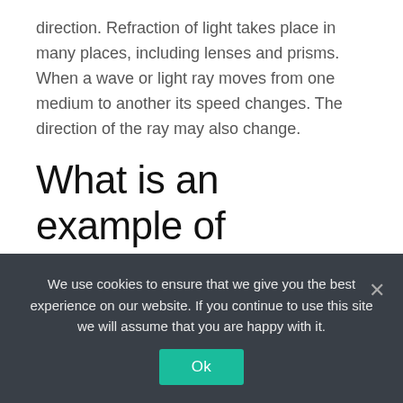direction. Refraction of light takes place in many places, including lenses and prisms. When a wave or light ray moves from one medium to another its speed changes. The direction of the ray may also change.
What is an example of refraction in nature?
A good example of refraction is when you see the bottom of a swimming pool. The light travels from the bottom of the pool, through the water, then through the air into your
We use cookies to ensure that we give you the best experience on our website. If you continue to use this site we will assume that you are happy with it.